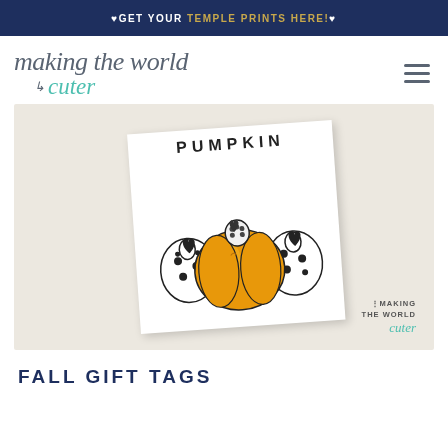♥GET YOUR TEMPLE PRINTS HERE!♥
[Figure (logo): Making the World Cuter logo in cursive/script font with teal accent]
[Figure (photo): Photo of a coloring page card showing PUMPKIN text and illustrated pumpkins, one colored orange, two uncolored with polka dot pattern. Card has Making the World Cuter watermark.]
FALL GIFT TAGS